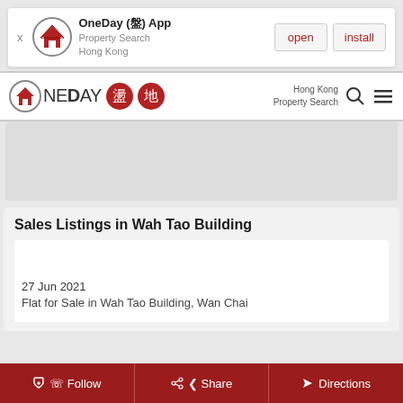[Figure (screenshot): OneDay app install banner with logo, open and install buttons]
[Figure (logo): OneDay property search Hong Kong navigation bar logo with Chinese characters and search/menu icons]
[Figure (other): Advertisement area (grey placeholder)]
Sales Listings in Wah Tao Building
27 Jun 2021
Flat for Sale in Wah Tao Building, Wan Chai
[Figure (other): Bottom action bar with Follow, Share, and Directions buttons]